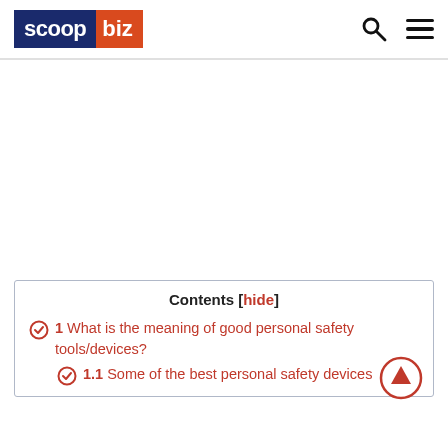scoop biz
[Figure (other): Advertisement / blank white area below header]
Contents [hide]
1 What is the meaning of good personal safety tools/devices?
1.1 Some of the best personal safety devices